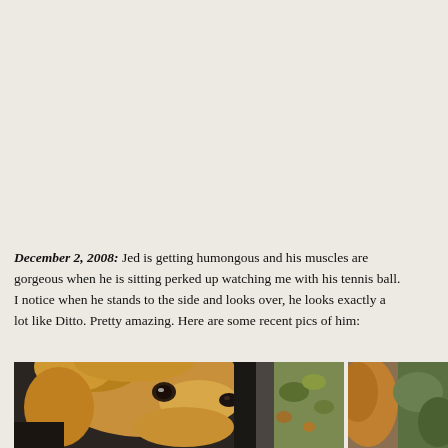December 2, 2008: Jed is getting humongous and his muscles are gorgeous when he is sitting perked up watching me with his tennis ball. I notice when he stands to the side and looks over, he looks exactly a lot like Ditto. Pretty amazing. Here are some recent pics of him:
[Figure (photo): A golden retriever dog looking through a car window or door, close-up of head and snout, with autumn leaves visible in background]
[Figure (photo): A partial view of another dog photo, partially cropped at right edge of page]